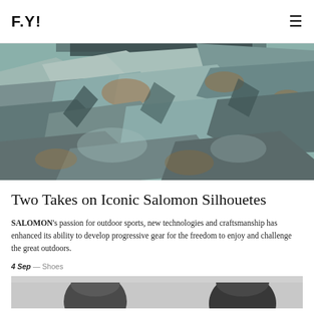F.Y!
[Figure (photo): Close-up of rocky cliff face with craggy stone surfaces in teal, grey and tan tones, with a glimpse of dark clothing at the top]
Two Takes on Iconic Salomon Silhouetes
SALOMON’s passion for outdoor sports, new technologies and craftsmanship has enhanced its ability to develop progressive gear for the freedom to enjoy and challenge the great outdoors.
4 Sep — Shoes
[Figure (photo): Bottom portion of another article image showing people's heads/silhouettes, partially cropped]